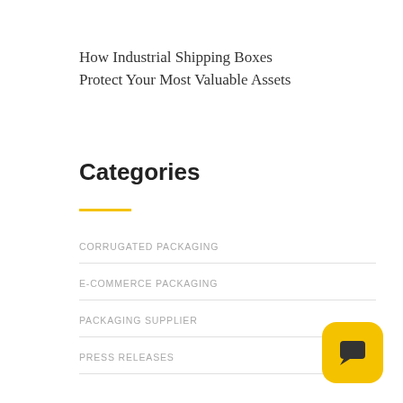How Industrial Shipping Boxes Protect Your Most Valuable Assets
Categories
CORRUGATED PACKAGING
E-COMMERCE PACKAGING
PACKAGING SUPPLIER
PRESS RELEASES
[Figure (illustration): Yellow rounded square chat/message button icon in bottom-right corner]